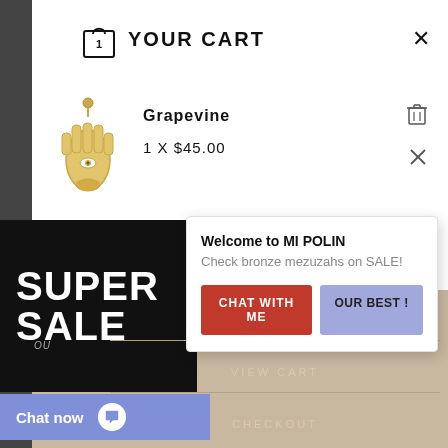YOUR CART
[Figure (illustration): Gold hamsa hand charm jewelry item — product image]
Grapevine
1 X $45.00
[Figure (infographic): Black banner with white bold text reading SUPER SALE]
[Figure (screenshot): Chat popup overlay with welcome message and two buttons]
Welcome to MI POLIN
Check bronze mezuzahs on SALE!
CHAT WITH ME
OUR BEST !
CONTINUE SHOPPING
Chat now
VIEW CART
CHECKOUT